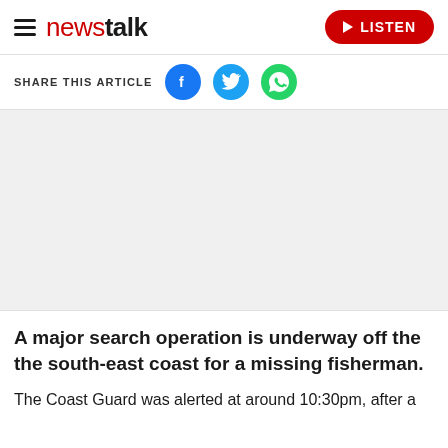newstalk | LISTEN
SHARE THIS ARTICLE
[Figure (screenshot): Blank image/advertisement placeholder area]
A major search operation is underway off the the south-east coast for a missing fisherman.
The Coast Guard was alerted at around 10:30pm, after a